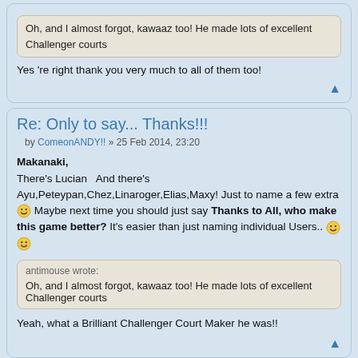Oh, and I almost forgot, kawaaz too! He made lots of excellent Challenger courts
Yes 're right thank you very much to all of them too!
Re: Only to say... Thanks!!!
by ComeonANDY!! » 25 Feb 2014, 23:20
Makanaki,
There's Lucian  And there's Ayu,Peteypan,Chez,Linaroger,Elias,Maxy! Just to name a few extra 🙂 Maybe next time you should just say Thanks to All, who make this game better? It's easier than just naming individual Users.. 🙂 🙂
antimouse wrote:
Oh, and I almost forgot, kawaaz too! He made lots of excellent Challenger courts
Yeah, what a Brilliant Challenger Court Maker he was!!